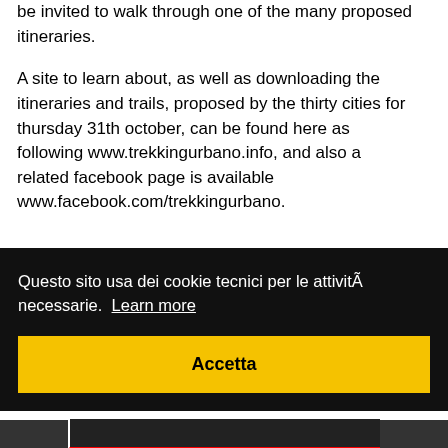be invited to walk through one of the many proposed itineraries.
A site to learn about, as well as downloading the itineraries and trails, proposed by the thirty cities for thursday 31th october, can be found here as following www.trekkingurbano.info, and also a related facebook page is available www.facebook.com/trekkingurbano.
Questo sito usa dei cookie tecnici per le attivitÃ  necessarie. Learn more
Accetta